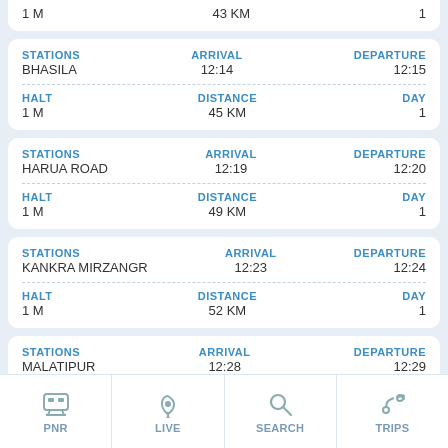| STATIONS | ARRIVAL | DEPARTURE |
| --- | --- | --- |
| 1 M | 43 KM | 1 |
| STATIONS | ARRIVAL | DEPARTURE |
| --- | --- | --- |
| BHASILA | 12:14 | 12:15 |
| HALT / 1 M | DISTANCE / 45 KM | DAY / 1 |
| STATIONS | ARRIVAL | DEPARTURE |
| --- | --- | --- |
| HARUA ROAD | 12:19 | 12:20 |
| HALT / 1 M | DISTANCE / 49 KM | DAY / 1 |
| STATIONS | ARRIVAL | DEPARTURE |
| --- | --- | --- |
| KANKRA MIRZANGR | 12:23 | 12:24 |
| HALT / 1 M | DISTANCE / 52 KM | DAY / 1 |
| STATIONS | ARRIVAL | DEPARTURE |
| --- | --- | --- |
| MALATIPUR | 12:28 | 12:29 |
| HALT / 1 M | DISTANCE | DAY / 1 |
PNR | LIVE | SEARCH | TRIPS